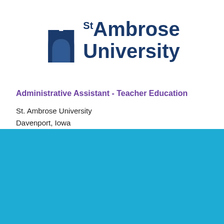[Figure (logo): St. Ambrose University logo with blue arch/chapel icon and text 'St Ambrose University' in dark navy blue]
Administrative Assistant - Teacher Education
St. Ambrose University
Davenport, Iowa
Cookie Settings   Got it
We use cookies so that we can remember you and understand how you use our site. If you do not agree with our use of cookies, please change the current settings found in our Cookie Policy. Otherwise, you agree to the use of the cookies as they are currently set.